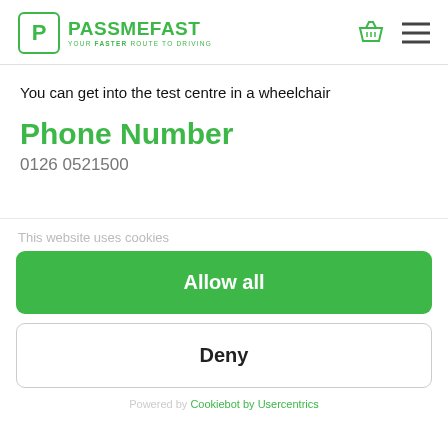[Figure (logo): PassMeFast logo — green P in a rounded square box, with PASSMEF AST in green bold text and tagline YOUR FASTER ROUTE TO DRIVING]
You can get into the test centre in a wheelchair
Phone Number
0126 0521500
This website uses cookies
Allow all
Deny
Powered by Cookiebot by Usercentrics